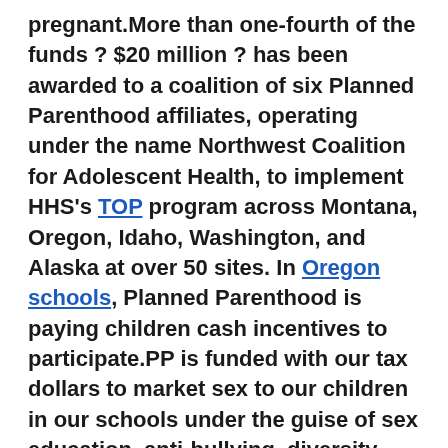pregnant.More than one-fourth of the funds ? $20 million ? has been awarded to a coalition of six Planned Parenthood affiliates, operating under the name Northwest Coalition for Adolescent Health, to implement HHS's TOP program across Montana, Oregon, Idaho, Washington, and Alaska at over 50 sites. In Oregon schools, Planned Parenthood is paying children cash incentives to participate.PP is funded with our tax dollars to market sex to our children in our schools under the guise of sex education, anti-bullying, diversity, and tolerance. Once sexualized, those children then become PP sex customers for contraceptives, STD testing, and